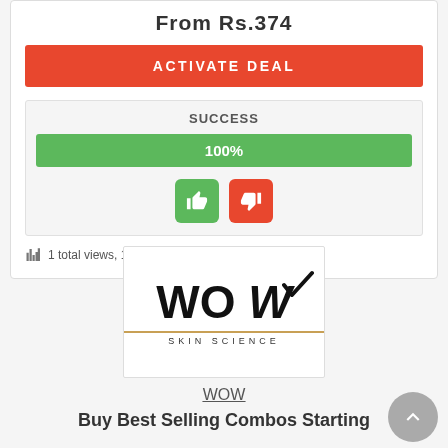From Rs.374
ACTIVATE DEAL
SUCCESS
100%
1 total views, 1 today  Share  Comment
[Figure (logo): WOW SKIN SCIENCE logo inside a bordered box]
WOW
Buy Best Selling Combos Starting